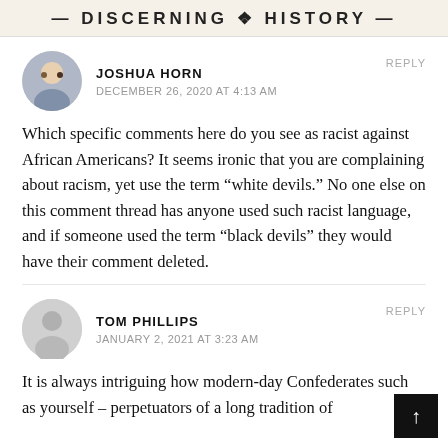DISCERNING HISTORY
JOSHUA HORN
DECEMBER 26, 2020 AT 4:13 AM
REPLY
Which specific comments here do you see as racist against African Americans? It seems ironic that you are complaining about racism, yet use the term “white devils.” No one else on this comment thread has anyone used such racist language, and if someone used the term “black devils” they would have their comment deleted.
TOM PHILLIPS
JANUARY 2, 2021 AT 3:23 AM
REPLY
It is always intriguing how modern-day Confederates such as yourself – perpetuators of a long tradition of